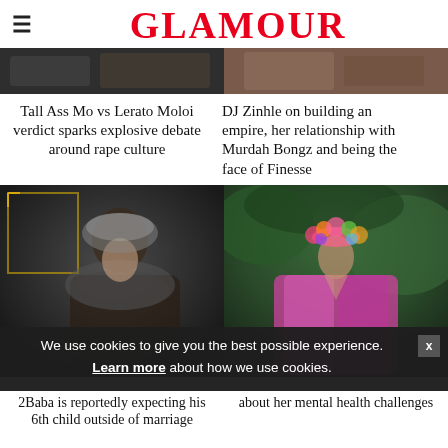GLAMOUR
[Figure (photo): Cropped top portion of two celebrity photos side by side]
Tall Ass Mo vs Lerato Moloi verdict sparks explosive debate around rape culture
DJ Zinhle on building an empire, her relationship with Murdah Bongz and being the face of Finesse
[Figure (photo): Woman in ornate headpiece and feathered outfit at an event]
[Figure (photo): Woman with floral crown in bright pink/purple robe outdoors]
We use cookies to give you the best possible experience. Learn more about how we use cookies.
2Baba is reportedly expecting his 6th child outside of marriage
about her mental health challenges